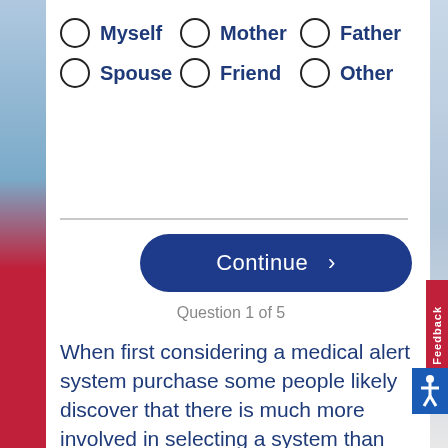Myself
Mother
Father
Spouse
Friend
Other
Continue >
Question 1 of 5
When first considering a medical alert system purchase some people likely discover that there is much more involved in selecting a system than calling the first medical alert company listed in an online search or in the telephone